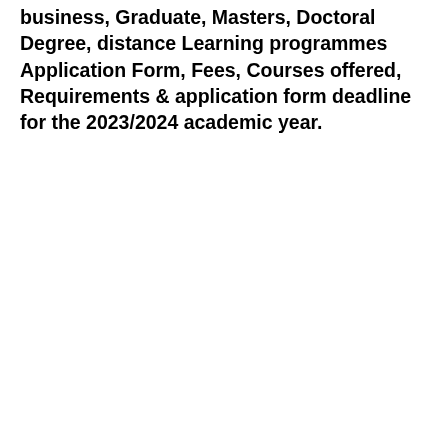business, Graduate, Masters, Doctoral Degree, distance Learning programmes Application Form, Fees, Courses offered, Requirements & application form deadline for the 2023/2024 academic year.